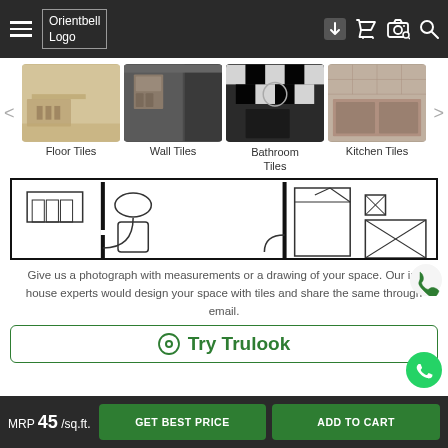Orientbell Logo — navigation header with hamburger menu and icons
[Figure (screenshot): Floor Tiles category thumbnail — light beige dining room floor]
[Figure (screenshot): Wall Tiles category thumbnail — dark bathroom with wood cabinet]
[Figure (screenshot): Bathroom Tiles category thumbnail — black and white pattern bathroom]
[Figure (screenshot): Kitchen Tiles category thumbnail — cream kitchen with utensils]
Floor Tiles
Wall Tiles
Bathroom Tiles
Kitchen Tiles
[Figure (illustration): Floor plan / room layout drawing showing dining area, bathroom, bedroom furniture in black and white line art]
Give us a photograph with measurements or a drawing of your space. Our in-house experts would design your space with tiles and share the same through email.
Try Trulook
MRP 45 /sq.ft.  GET BEST PRICE  ADD TO CART